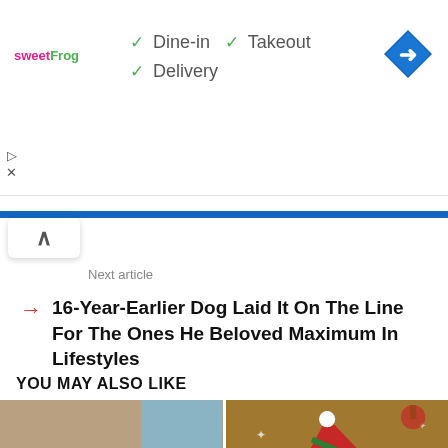[Figure (screenshot): sweetFrog advertisement banner with Dine-in, Takeout, Delivery checkmarks and Google Maps direction icon]
Next article
16-Year-Earlier Dog Laid It On The Line For The Ones He Beloved Maximum In Lifestyles
YOU MAY ALSO LIKE
[Figure (photo): Golden retriever dog resting beside a baby goat on a couch]
[Figure (photo): Golden retriever dog wearing a red and green elf hat with Christmas decorations in background]